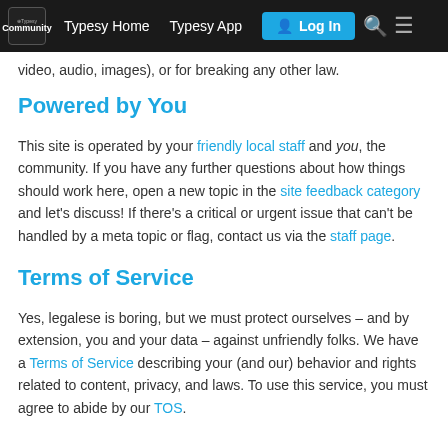Typesy Home  Typesy App  Log In
video, audio, images), or for breaking any other law.
Powered by You
This site is operated by your friendly local staff and you, the community. If you have any further questions about how things should work here, open a new topic in the site feedback category and let's discuss! If there's a critical or urgent issue that can't be handled by a meta topic or flag, contact us via the staff page.
Terms of Service
Yes, legalese is boring, but we must protect ourselves – and by extension, you and your data – against unfriendly folks. We have a Terms of Service describing your (and our) behavior and rights related to content, privacy, and laws. To use this service, you must agree to abide by our TOS.